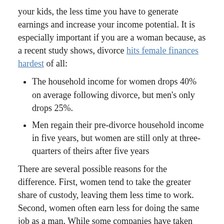your kids, the less time you have to generate earnings and increase your income potential. It is especially important if you are a woman because, as a recent study shows, divorce hits female finances hardest of all:
The household income for women drops 40% on average following divorce, but men's only drops 25%.
Men regain their pre-divorce household income in five years, but women are still only at three-quarters of theirs after five years
There are several possible reasons for the difference. First, women tend to take the greater share of custody, leaving them less time to work. Second, women often earn less for doing the same job as a man. While some companies have taken steps to change this, the gender pay gap is still a significant issue.